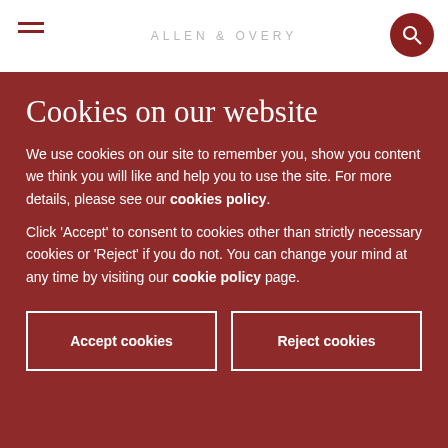ALLEN & OVERY
Cookies on our website
We use cookies on our site to remember you, show you content we think you will like and help you to use the site. For more details, please see our cookies policy.
Click 'Accept' to consent to cookies other than strictly necessary cookies or 'Reject' if you do not. You can change your mind at any time by visiting our cookie policy page.
Accept cookies
Reject cookies